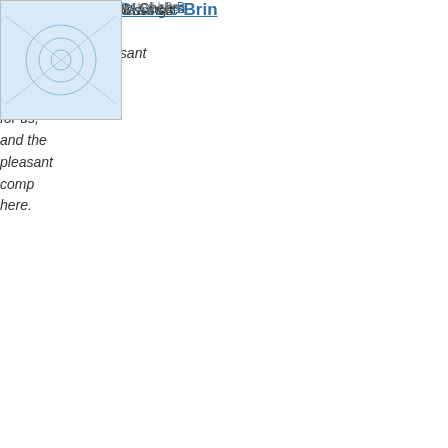before turning in.
Alton Brown's Classic Brin
Pos
[Figure (photo): Thumbnail image showing an X-shaped red cross on white/grey background, resembling a flag.]
I count among my blessings t for us, and the pleasant comp here.
I certainly agree, sbw. Cheers
Posted by: B
[Figure (photo): Thumbnail image showing a blue swirling or network pattern on light background.]
Must have been some strong
http://hotair.com/headlines outdoing-the-u-s-on-truthte
P
[Figure (photo): Thumbnail image showing teal/blue wavy lines pattern.]
US officials, Ivy League uni Israel ‘boycott’
An American academi